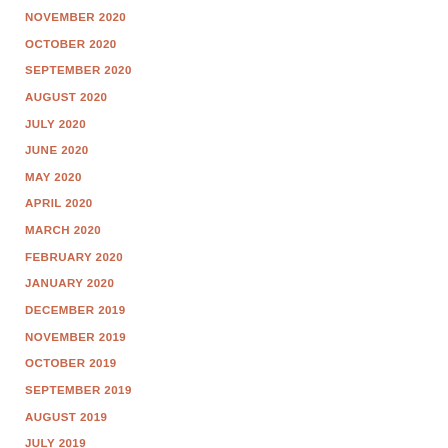NOVEMBER 2020
OCTOBER 2020
SEPTEMBER 2020
AUGUST 2020
JULY 2020
JUNE 2020
MAY 2020
APRIL 2020
MARCH 2020
FEBRUARY 2020
JANUARY 2020
DECEMBER 2019
NOVEMBER 2019
OCTOBER 2019
SEPTEMBER 2019
AUGUST 2019
JULY 2019
JUNE 2019
MAY 2019